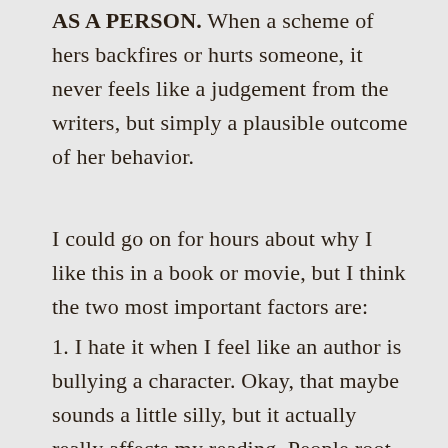AS A PERSON. When a scheme of hers backfires or hurts someone, it never feels like a judgement from the writers, but simply a plausible outcome of her behavior.
I could go on for hours about why I like this in a book or movie, but I think the two most important factors are:
1. I hate it when I feel like an author is bullying a character. Okay, that maybe sounds a little silly, but it actually really affects my reading. People root for the underdog, right?